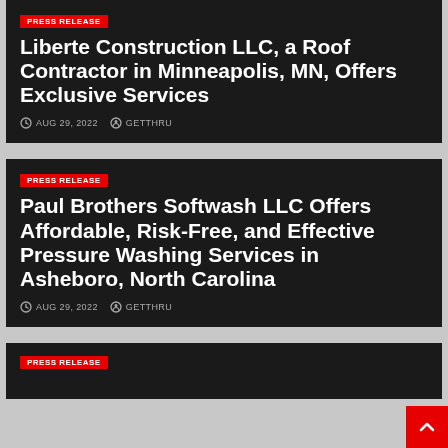PRESS RELEASE
Liberte Construction LLC, a Roof Contractor in Minneapolis, MN, Offers Exclusive Services
AUG 29, 2022  GETTHRU
PRESS RELEASE
Paul Brothers Softwash LLC Offers Affordable, Risk-Free, and Effective Pressure Washing Services in Asheboro, North Carolina
AUG 29, 2022  GETTHRU
PRESS RELEASE